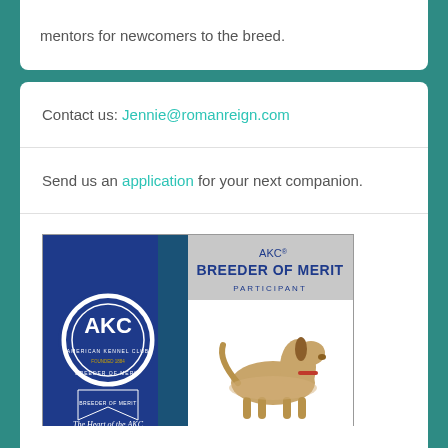mentors for newcomers to the breed.
Contact us: Jennie@romanreign.com
Send us an application for your next companion.
[Figure (other): AKC Breeder of Merit Participant badge with American Kennel Club seal, blue ribbon banner, illustration of a long-haired dog, and text 'The Heart of the AKC']